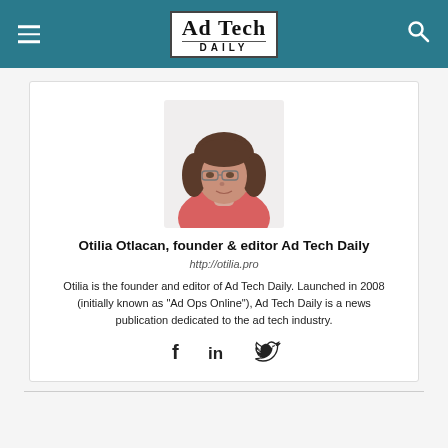Ad Tech Daily
[Figure (photo): Profile photo of Otilia Otlacan, a woman with dark shoulder-length hair and glasses, wearing a red top]
Otilia Otlacan, founder & editor Ad Tech Daily
http://otilia.pro
Otilia is the founder and editor of Ad Tech Daily. Launched in 2008 (initially known as "Ad Ops Online"), Ad Tech Daily is a news publication dedicated to the ad tech industry.
[Figure (illustration): Social media icons: Facebook (f), LinkedIn (in), Twitter (bird icon)]